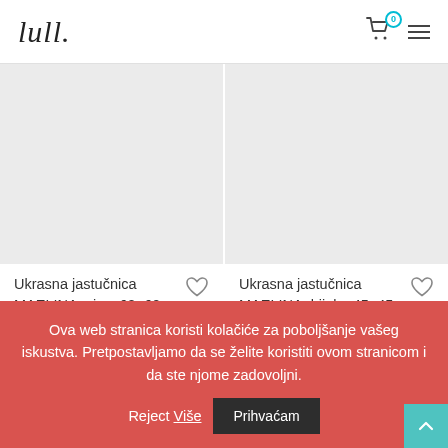lull. (logo) — cart icon with badge 0, hamburger menu
[Figure (photo): Product image placeholder, light grey background (left product: Ukrasna jastučnica MAELINA, siva)]
Ukrasna jastučnica MAELINA, siva, 60×60 cm- AA6286SN03
[Figure (photo): Product image placeholder, light grey background (right product: Ukrasna jastučnica MAELINA, bijela)]
Ukrasna jastučnica MAELINA, bijela, 45×45 cm- AA6287SN39
Ova web stranica koristi kolačiće za poboljšanje vašeg iskustva. Pretpostavljamo da se želite koristiti ovom stranicom i da ste njome zadovoljni. Prihvaćam Reject Više